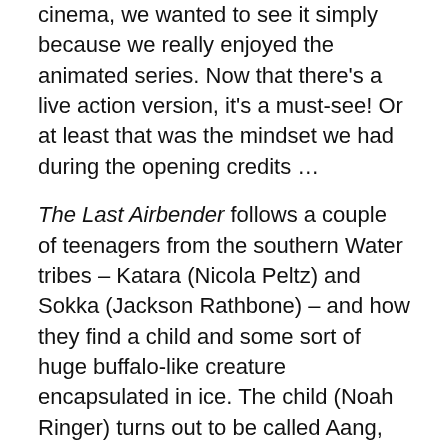cinema, we wanted to see it simply because we really enjoyed the animated series. Now that there's a live action version, it's a must-see! Or at least that was the mindset we had during the opening credits …
The Last Airbender follows a couple of teenagers from the southern Water tribes – Katara (Nicola Peltz) and Sokka (Jackson Rathbone) – and how they find a child and some sort of huge buffalo-like creature encapsulated in ice. The child (Noah Ringer) turns out to be called Aang, and he just happens to be the Avatar.
The Avatar is a person who in every lifetime is the keeper of the balance between the four Nations (Earth, Air, Water and Fire). However, Aang, when being faced with a lifetime of responsibilities and no option of ever living a normal life, bolts. He's gone for a hundred years, and because he's gone, the balance of the world is thrown off, and the aggressive Fire Nation subvert the others